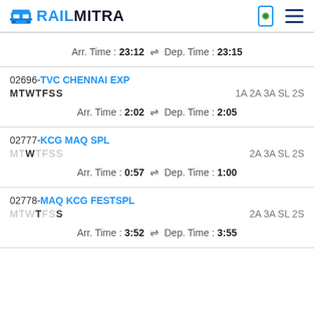RAILMITRA
Arr. Time : 23:12 ⇌ Dep. Time : 23:15
02696-TVC CHENNAI EXP
MTWTFSS	1A 2A 3A SL 2S
Arr. Time : 2:02 ⇌ Dep. Time : 2:05
02777-KCG MAQ SPL
MTWTFSS	2A 3A SL 2S
Arr. Time : 0:57 ⇌ Dep. Time : 1:00
02778-MAQ KCG FESTSPL
MTWTFSS	2A 3A SL 2S
Arr. Time : 3:52 ⇌ Dep. Time : 3:55